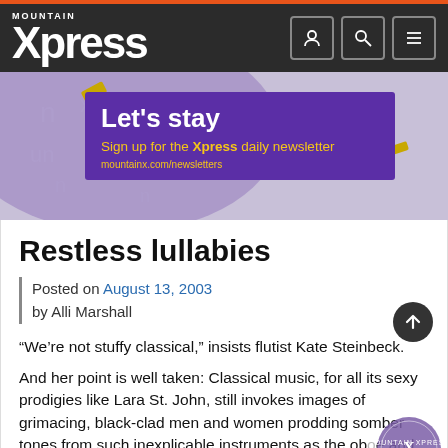Mountain Xpress
[Figure (infographic): Purple banner advertisement: 'Let's stay – Sign up for the Xpress daily newsletter – mountainx.com/newsletters']
Restless lullabies
Posted on August 13, 2003 by Alli Marshall
“We’re not stuffy classical,” insists flutist Kate Steinbeck.
And her point is well taken: Classical music, for all its sexy prodigies like Lara St. John, still invokes images of grimacing, black-clad men and women prodding somber tones from such inexplicable instruments as the oboe and bassoon.